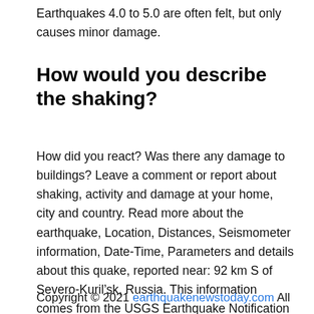Earthquakes 4.0 to 5.0 are often felt, but only causes minor damage.
How would you describe the shaking?
How did you react? Was there any damage to buildings? Leave a comment or report about shaking, activity and damage at your home, city and country. Read more about the earthquake, Location, Distances, Seismometer information, Date-Time, Parameters and details about this quake, reported near: 92 km S of Severo-Kuril’sk, Russia. This information comes from the USGS Earthquake Notification Service.
Copyright © 2021 earthquakenewstoday.com All